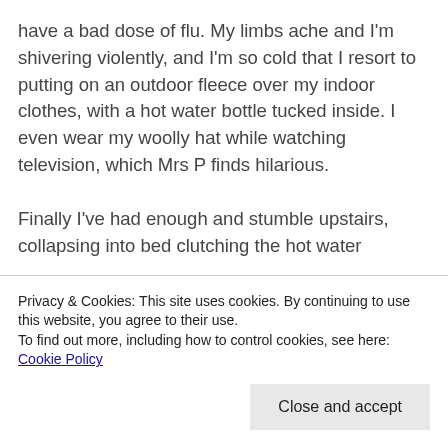have a bad dose of flu. My limbs ache and I'm shivering violently, and I'm so cold that I resort to putting on an outdoor fleece over my indoor clothes, with a hot water bottle tucked inside. I even wear my woolly hat while watching television, which Mrs P finds hilarious.

Finally I've had enough and stumble upstairs, collapsing into bed clutching the hot water
Privacy & Cookies: This site uses cookies. By continuing to use this website, you agree to their use.
To find out more, including how to control cookies, see here: Cookie Policy
proof positive that it's doing what it's meant to